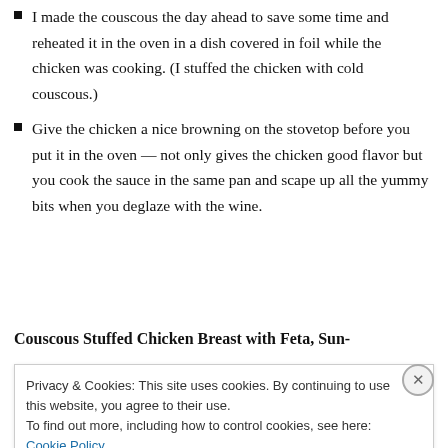I made the couscous the day ahead to save some time and reheated it in the oven in a dish covered in foil while the chicken was cooking. (I stuffed the chicken with cold couscous.)
Give the chicken a nice browning on the stovetop before you put it in the oven — not only gives the chicken good flavor but you cook the sauce in the same pan and scape up all the yummy bits when you deglaze with the wine.
Couscous Stuffed Chicken Breast with Feta, Sun-
Privacy & Cookies: This site uses cookies. By continuing to use this website, you agree to their use.
To find out more, including how to control cookies, see here: Cookie Policy
Close and accept